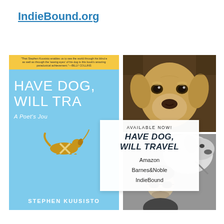IndieBound.org
[Figure (illustration): Composite image: book cover for 'Have Dog, Will Travel: A Poet's Journey' by Stephen Kuusisto (light blue cover with gold guide dog icon), a photo of a yellow Labrador Retriever dog, a black-and-white photo of a man wearing round sunglasses with a guide dog, and an overlay card reading 'AVAILABLE NOW! HAVE DOG, WILL TRAVEL' with links to Amazon, Barnes&Noble, IndieBound]